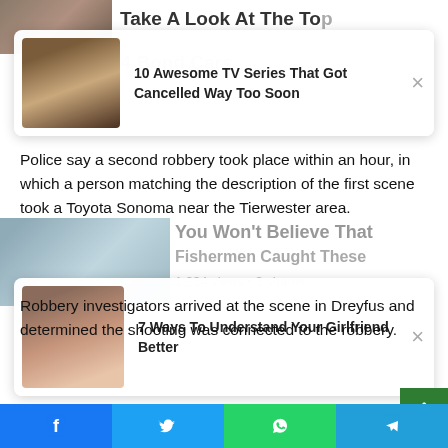[Figure (screenshot): Background article partial header: 'Take A Look At The Top...' with image thumbnail]
[Figure (screenshot): Popup card 1: thumbnail of couple, title '10 Awesome TV Series That Got Cancelled Way Too Soon', close X button]
[Figure (screenshot): Background article partial: 'You Won't Believe That Fishermen Caught These...' with image thumbnail]
[Figure (screenshot): Popup card 2: thumbnail of couple hugging, title '7 Ways To Understand Your Girlfriend Better', close X button]
Police say a second robbery took place within an hour, in which a person matching the description of the first scene took a Toyota Sonoma near the Tierwester area.
Robbery investigators arrived at the scene in Dreyfus and determined the shooting was connected to the robbery.
The man who was shot was taken to a nearby hospital
[Figure (screenshot): Scroll to top green button with up arrow]
[Figure (screenshot): Share bar with Facebook, Twitter, WhatsApp, Telegram buttons]